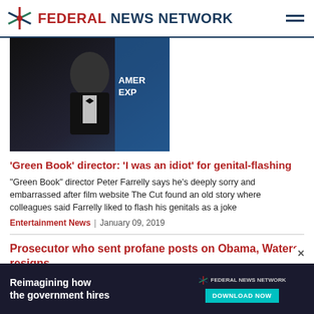FEDERAL NEWS NETWORK
[Figure (photo): A man in a black tuxedo with bow tie, cropped, with a blue American Express backdrop behind him.]
'Green Book' director: 'I was an idiot' for genital-flashing
"Green Book" director Peter Farrelly says he's deeply sorry and embarrassed after film website The Cut found an old story where colleagues said Farrelly liked to flash his genitals as a joke
Entertainment News  |  January 09, 2019
Prosecutor who sent profane posts on Obama, Waters resigns
A Southern California prosecutor who posted crude and profane... Obama...
[Figure (screenshot): Advertisement banner: 'Reimagining how the government hires' with Federal News Network logo and a Download Now button in teal.]